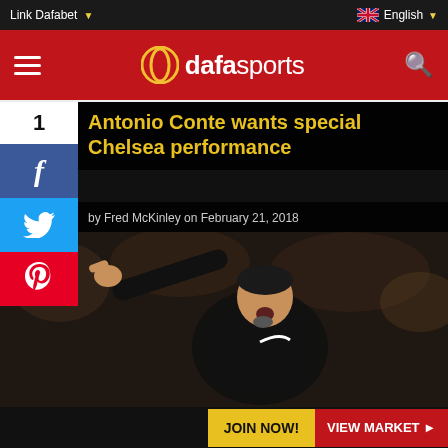Link Dafabet
English
Antonio Conte wants special Chelsea performance
by Fred McKinley on February 21, 2018
[Figure (photo): Antonio Conte gesturing on the touchline, wearing a black Nike puffer jacket, pointing with his right hand and shouting]
JOIN NOW!
VIEW MARKET ▶